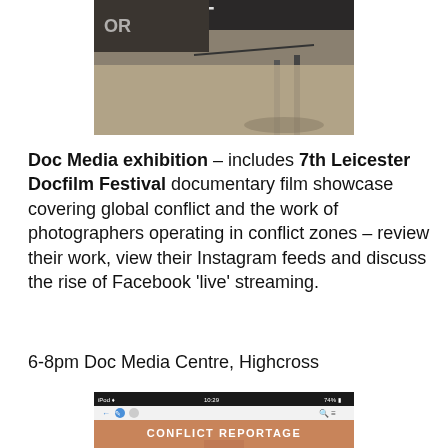[Figure (photo): A photo showing what appears to be a table or display stand with signage, taken at an angle, partial view of text on backdrop.]
Doc Media exhibition – includes 7th Leicester Docfilm Festival documentary film showcase covering global conflict and the work of photographers operating in conflict zones – review their work, view their Instagram feeds and discuss the rise of Facebook 'live' streaming.
6-8pm Doc Media Centre, Highcross
[Figure (screenshot): Screenshot of a mobile browser showing a page titled CONFLICT REPORTAGE with an orange/brown background and a figure visible.]